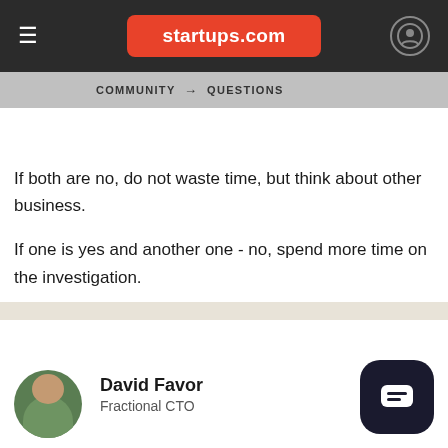startups.com
COMMUNITY → QUESTIONS
If both are no, do not waste time, but think about other business.
If one is yes and another one - no, spend more time on the investigation.
Market investigation is the first and most important one.
all the best
Val
Answered 4 years ago
David Favor
Fractional CTO